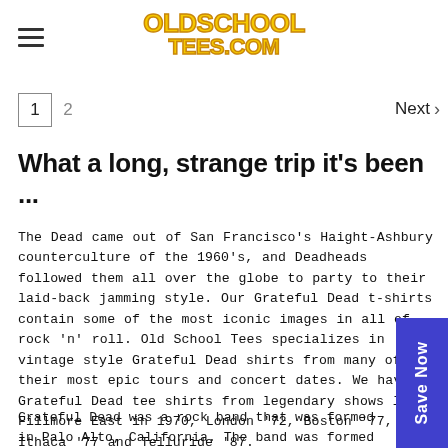OldSchoolTees.com
1  2  Next >
What a long, strange trip it's been ...
The Dead came out of San Francisco's Haight-Ashbury counterculture of the 1960's, and Deadheads followed them all over the globe to party to their laid-back jamming style. Our Grateful Dead t-shirts contain some of the most iconic images in all of rock 'n' roll. Old School Tees specializes in vintage style Grateful Dead shirts from many of their most epic tours and concert dates. We have Grateful Dead tee shirts from legendary shows like Fillmore East in 1970, London '72, Boston '77, Ithaca '77 and Telluride '87.
Grateful Dead was a rock band that was formed in Palo Alto, California. The band was formed in 1965. The Grateful Dead h…